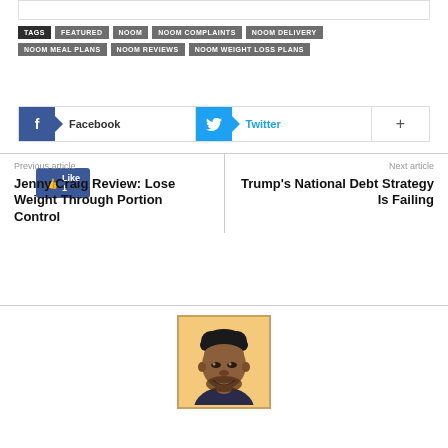TAGS  FEATURED  NOOM  NOOM COMPLAINTS  NOOM DELIVERY  NOOM MEAL PLANS  NOOM REVIEWS  NOOM WEIGHT LOSS PLANS
[Figure (other): Facebook Like button showing Like 1]
[Figure (other): Social sharing buttons: Facebook, Twitter, and plus button]
Previous article
Jenny Craig Review: Lose Weight Through Portion Control
Next article
Trump’s National Debt Strategy Is Failing
[Figure (illustration): Cartoon illustration of a smiling man with dark curly hair against an orange/yellow background]